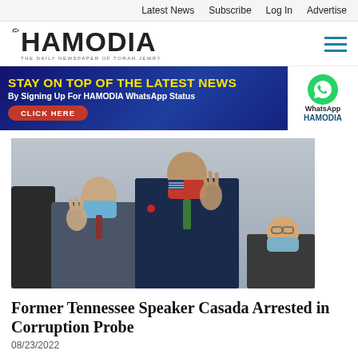Latest News  Subscribe  Log In  Advertise
[Figure (logo): Hamodia newspaper logo - The Daily Newspaper of Torah Jewry]
[Figure (infographic): Banner ad: STAY ON TOP OF THE LATEST NEWS By Signing Up For HAMODIA WhatsApp Status - CLICK HERE, with WhatsApp HAMODIA logo on right]
[Figure (photo): Photo of former Tennessee Speaker Casada and other legislators raising their hands, wearing face masks, in a legislative chamber]
Former Tennessee Speaker Casada Arrested in Corruption Probe
08/23/2022